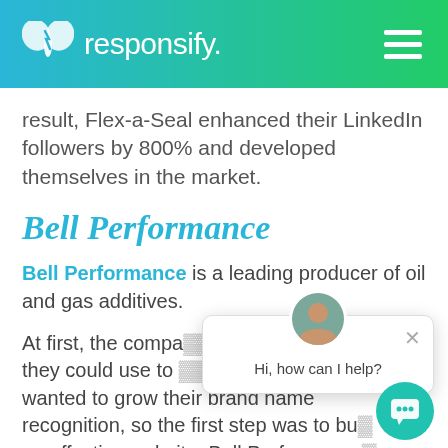responsify.
result, Flex-a-Seal enhanced their LinkedIn followers by 800% and developed themselves in the market.
Bell Performance
Bell Performance is a leading producer of oil and gas additives.
At first, the compa… they could use to … wanted to grow their brand name recognition, so the first step was to bu… an effective website. Bell Performance… looked to solutions from an Inbound frim.
[Figure (screenshot): Live chat popup with avatar and 'Hi, how can I help?' message, plus teal chat bubble button in corner]